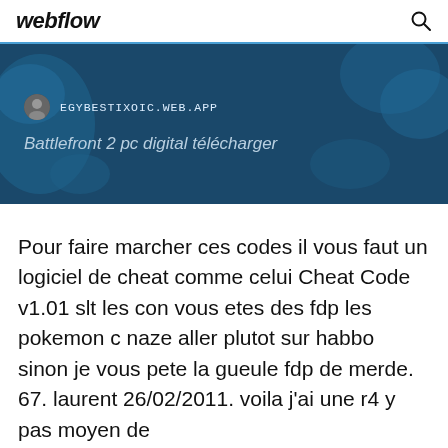webflow
[Figure (screenshot): Dark blue banner with map background showing EGYBESTIXOIC.WEB.APP URL and italic title 'Battlefront 2 pc digital télécharger']
Pour faire marcher ces codes il vous faut un logiciel de cheat comme celui Cheat Code v1.01 slt les con vous etes des fdp les pokemon c naze aller plutot sur habbo sinon je vous pete la gueule fdp de merde. 67. laurent 26/02/2011. voila j'ai une r4 y pas moyen de